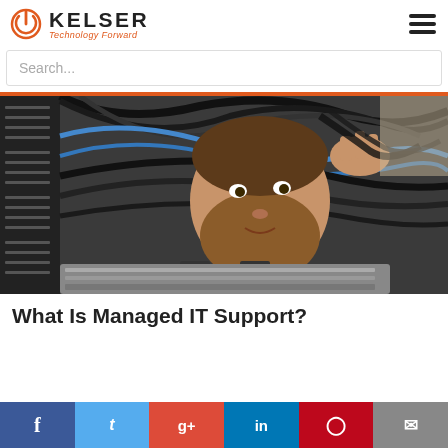[Figure (logo): Kelser Technology Forward logo with orange power button icon]
Search...
[Figure (photo): A man with a beard working on server cables inside a rack, managing network wiring]
What Is Managed IT Support?
[Figure (infographic): Social share bar with Facebook, Twitter, Google+, LinkedIn, Pinterest, and Email buttons]